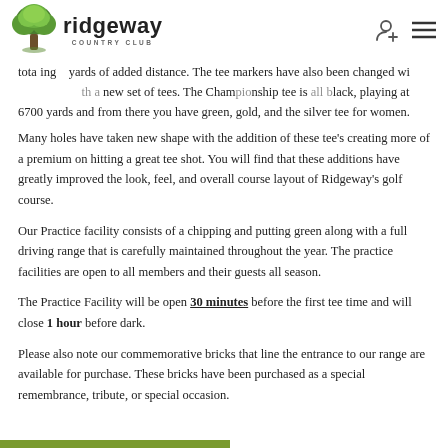Ridgeway Country Club
totaling 65 yards of added distance. The tee markers have also been changed with a new set of tees. The Championship tee is all black, playing at 6700 yards and from there you have green, gold, and the silver tee for women.
Many holes have taken new shape with the addition of these tee's creating more of a premium on hitting a great tee shot. You will find that these additions have greatly improved the look, feel, and overall course layout of Ridgeway's golf course.
Our Practice facility consists of a chipping and putting green along with a full driving range that is carefully maintained throughout the year. The practice facilities are open to all members and their guests all season.
The Practice Facility will be open 30 minutes before the first tee time and will close 1 hour before dark.
Please also note our commemorative bricks that line the entrance to our range are available for purchase. These bricks have been purchased as a special remembrance, tribute, or special occasion.